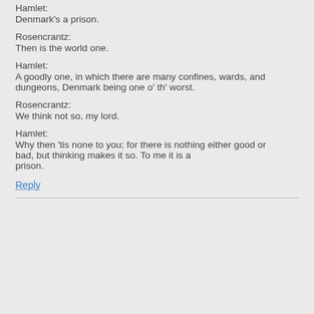Hamlet:
Denmark's a prison.
Rosencrantz:
Then is the world one.
Hamlet:
A goodly one, in which there are many confines, wards, and dungeons, Denmark being one o' th' worst.
Rosencrantz:
We think not so, my lord.
Hamlet:
Why then 'tis none to you; for there is nothing either good or bad, but thinking makes it so. To me it is a prison.
Reply